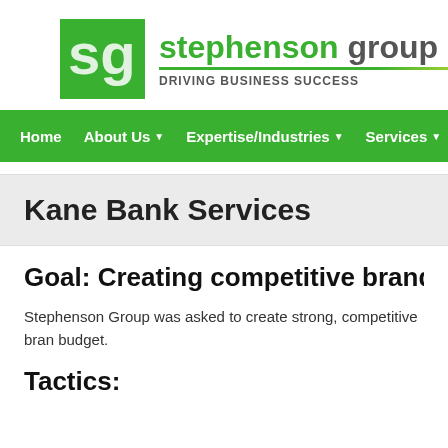[Figure (logo): Stephenson Group logo with green SG icon and text 'stephenson group' with tagline 'DRIVING BUSINESS SUCCESS']
Home | About Us | Expertise/Industries | Services | Pro
Kane Bank Services
Goal: Creating competitive brand prese
Stephenson Group was asked to create strong, competitive bran budget.
Tactics: